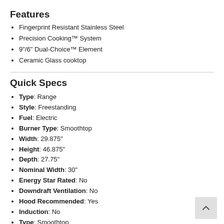Features
Fingerprint Resistant Stainless Steel
Precision Cooking™ System
9"/6" Dual-Choice™ Element
Ceramic Glass cooktop
Quick Specs
Type: Range
Style: Freestanding
Fuel: Electric
Burner Type: Smoothtop
Width: 29.875"
Height: 46.875"
Depth: 27.75"
Nominal Width: 30"
Energy Star Rated: No
Downdraft Ventilation: No
Hood Recommended: Yes
Induction: No
Type: Smoothtop
Self Clean: Yes
Convection: No